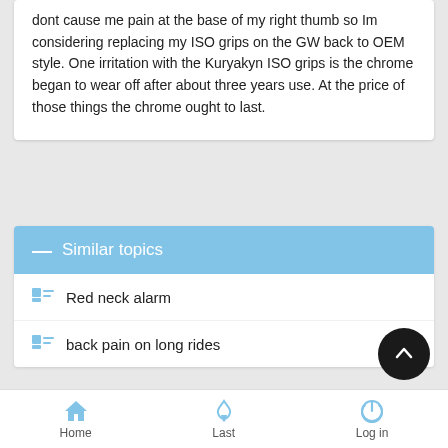dont cause me pain at the base of my right thumb so Im considering replacing my ISO grips on the GW back to OEM style. One irritation with the Kuryakyn ISO grips is the chrome began to wear off after about three years use. At the price of those things the chrome ought to last.
Similar topics
Red neck alarm
back pain on long rides
Home  Last  Log in